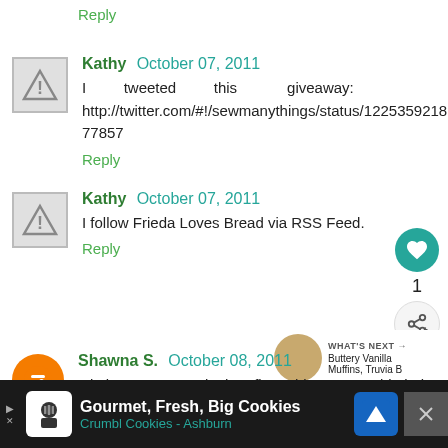Reply
Kathy October 07, 2011
I tweeted this giveaway: http://twitter.com/#!/sewmanythings/status/122535921827577857
Reply
Kathy October 07, 2011
I follow Frieda Loves Bread via RSS Feed.
Reply
Shawna S. October 08, 2011
I'd love one and the first thing I would bake is chocolate
WHAT'S NEXT → Buttery Vanilla Muffins, Truvia B
Gourmet, Fresh, Big Cookies Crumbl Cookies - Ashburn